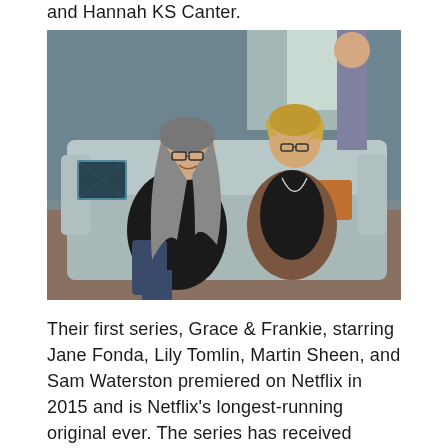and Hannah KS Canter.
[Figure (photo): Two women sitting on a light gray couch facing each other and talking. The woman on the left has long gray hair and glasses, wearing a dark top and jeans. The woman on the right has short blonde hair and glasses, wearing a dark top and a brown cardigan with a long necklace. The background shows an interior room setting.]
Their first series, Grace & Frankie, starring Jane Fonda, Lily Tomlin, Martin Sheen, and Sam Waterston premiered on Netflix in 2015 and is Netflix's longest-running original ever. The series has received multiple Emmy and SAG